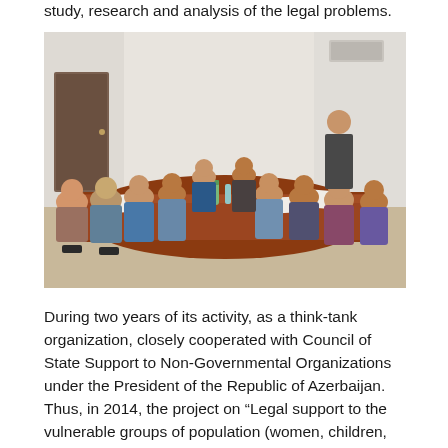study, research and analysis of the legal problems.
[Figure (photo): A group of people sitting around a conference table in a meeting room, with water bottles on the table and one person standing near the wall presenting.]
During two years of its activity, as a think-tank organization, closely cooperated with Council of State Support to Non-Governmental Organizations under the President of the Republic of Azerbaijan. Thus, in 2014, the project on “Legal support to the vulnerable groups of population (women, children, and persons with disabilities” had been implemented with financial